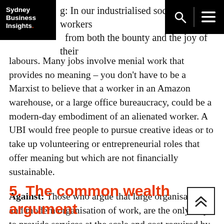Sydney Business Insights
g: In our industrialised societies, workers from both the bounty and the joy of their labours. Many jobs involve menial work that provides no meaning – you don't have to be a Marxist to believe that a worker in an Amazon warehouse, or a large office bureaucracy, could be a modern-day embodiment of an alienated worker. A UBI would free people to pursue creative ideas or to take up volunteering or entrepreneurial roles that offer meaning but which are not financially sustainable.
Against: Those who argue that large organisations, and modern organisation of work, are the only ways to provide services at the scale and cost required by our modern-day lifestyle.
5. The common wealth argument